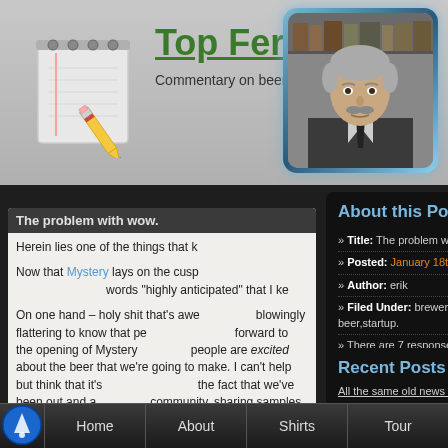[Figure (screenshot): Screenshot of a blog website called Top Fermented with header, post content, sidebars, and navigation bar]
Top Fermented (partially visible)
Commentary on beer, bre... ustry.
The problem with wow.
Herein lies one of the things that k...
Now that Mystery lays on the cusp... words "highly anticipated" that I ke...
On one hand – holy shit that's awe... blowingly flattering to know that pe... forward to the opening of Mystery... people are excited about the beer that we're going to make. I can't help but think that it's at least in part to the fact that we've been out and a... community, sharing samples when... generally trying to build buzz.
About this Post
» Title: The problem with wow.
» Posted: January 18th, 2012
» Author: erik
» Filed Under: brewery,new beer,startup.
» There are 7 responses.
» Read comments, respond or follow responses via RSS.
Recent Posts
All the same old news is new again.
Home  About  Shirts  Tour